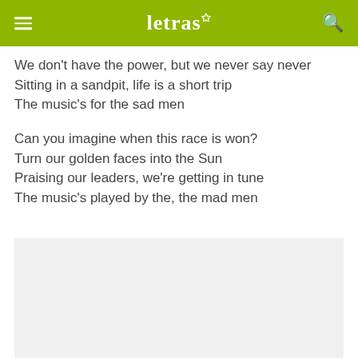letras
We don't have the power, but we never say never
Sitting in a sandpit, life is a short trip
The music's for the sad men
Can you imagine when this race is won?
Turn our golden faces into the Sun
Praising our leaders, we're getting in tune
The music's played by the, the mad men
[Figure (other): Grey advertisement placeholder box at the bottom of the page]